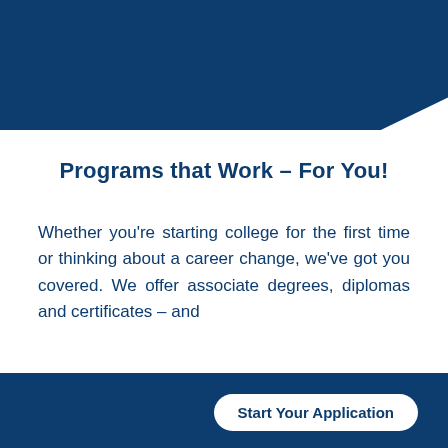[Figure (illustration): Dark navy blue decorative header bar with angled lower-right edge forming a chevron/diagonal cut]
Programs that Work – For You!
Whether you're starting college for the first time or thinking about a career change, we've got you covered. We offer associate degrees, diplomas and certificates – and
[Figure (illustration): Dark navy blue footer bar spanning full width]
Start Your Application